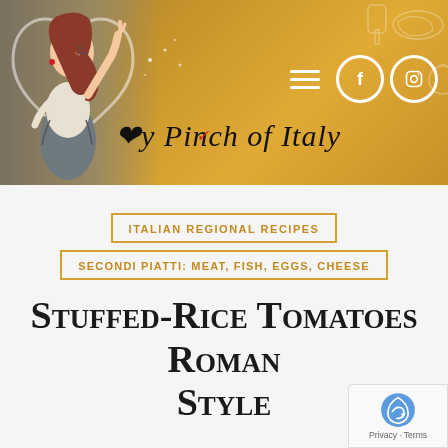[Figure (illustration): Blog header banner with golden/amber gradient background, cartoon illustration of a woman chef on the left, hamburger menu icon and social media icons (Facebook, Instagram) on the right, decorative food icons (tomatoes, cheese, meat) outlined in the background, and 'My Pinch of Italy' written in script/cursive text]
ITALIAN REGIONAL RECIPES
SECONDI PIATTI: MEAT, FISH, EGGS, CHEESE
Stuffed-Rice Tomatoes Roman Style